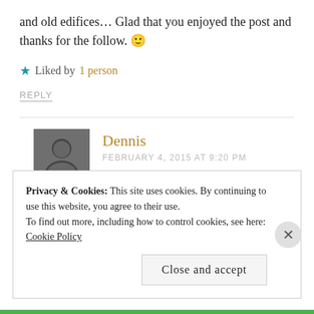and old edifices… Glad that you enjoyed the post and thanks for the follow. 🙂
★ Liked by 1 person
REPLY
Dennis
FEBRUARY 4, 2015 AT 9:20 PM
Privacy & Cookies: This site uses cookies. By continuing to use this website, you agree to their use.
To find out more, including how to control cookies, see here:
Cookie Policy
Close and accept